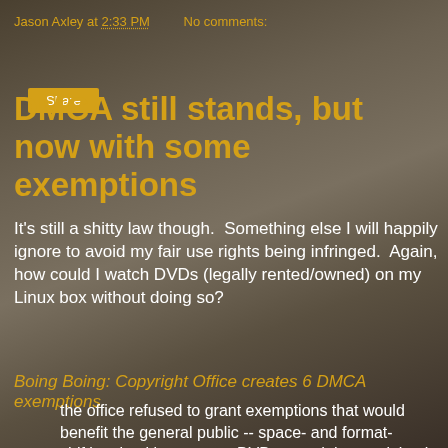Jason Axley at 2:33 PM   No comments:
Share
DMCA still stands, but now with some exemptions
It's still a shitty law though.  Something else I will happily ignore to avoid my fair use rights being infringed.  Again, how could I watch DVDs (legally rented/owned) on my Linux box without doing so?
Boing Boing: Copyright Office creates 6 DMCA exemptions
the office refused to grant exemptions that would benefit the general public -- space- and format-shifting, backing up your DVDs -- and they took back an earlier exemption that let people reverse-engineer the blacklists maintained by censorware companies to bring some transparency to their